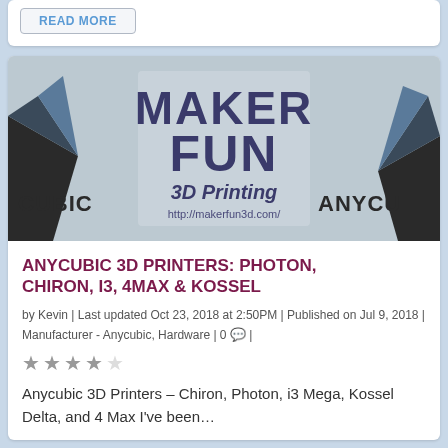READ MORE
[Figure (photo): Maker Fun 3D Printing banner image showing geometric shapes on either side and logo text in center reading MAKER FUN 3D Printing with URL http://makerfun3d.com, with CUBIC and ANYCU text visible on left and right]
ANYCUBIC 3D PRINTERS: PHOTON, CHIRON, I3, 4MAX & KOSSEL
by Kevin | Last updated Oct 23, 2018 at 2:50PM | Published on Jul 9, 2018 | Manufacturer - Anycubic, Hardware | 0 💬 |
★★★★☆
Anycubic 3D Printers – Chiron, Photon, i3 Mega, Kossel Delta, and 4 Max I've been…